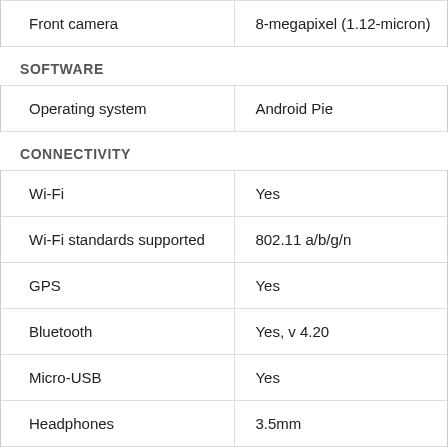| Feature | Value |
| --- | --- |
| Front camera | 8-megapixel (1.12-micron) |
SOFTWARE
| Feature | Value |
| --- | --- |
| Operating system | Android Pie |
CONNECTIVITY
| Feature | Value |
| --- | --- |
| Wi-Fi | Yes |
| Wi-Fi standards supported | 802.11 a/b/g/n |
| GPS | Yes |
| Bluetooth | Yes, v 4.20 |
| Micro-USB | Yes |
| Headphones | 3.5mm |